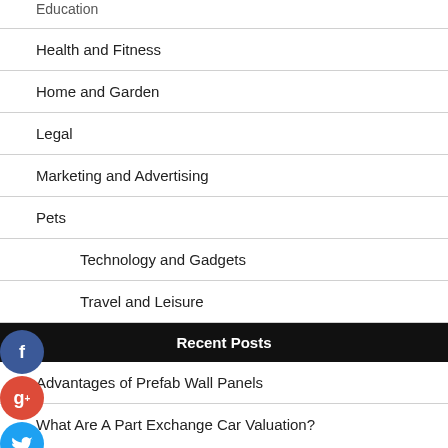Education
Health and Fitness
Home and Garden
Legal
Marketing and Advertising
Pets
Technology and Gadgets
Travel and Leisure
Recent Posts
Advantages of Prefab Wall Panels
What Are A Part Exchange Car Valuation?